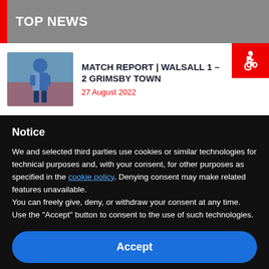TOP NEWS
MATCH REPORT | WALSALL 1 – 2 GRIMSBY TOWN
27 August 2022
Notice
We and selected third parties use cookies or similar technologies for technical purposes and, with your consent, for other purposes as specified in the cookie policy. Denying consent may make related features unavailable.
You can freely give, deny, or withdraw your consent at any time. Use the "Accept" button to consent to the use of such technologies.
Accept
Learn more and customise